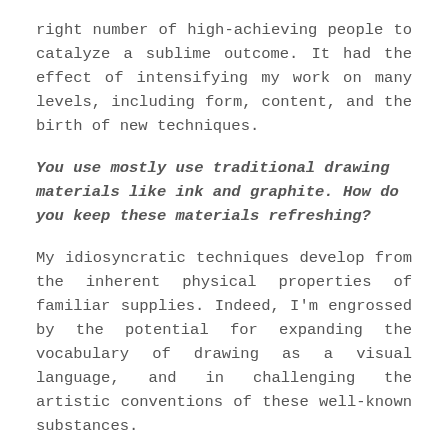right number of high-achieving people to catalyze a sublime outcome. It had the effect of intensifying my work on many levels, including form, content, and the birth of new techniques.
You use mostly use traditional drawing materials like ink and graphite. How do you keep these materials refreshing?
My idiosyncratic techniques develop from the inherent physical properties of familiar supplies. Indeed, I'm engrossed by the potential for expanding the vocabulary of drawing as a visual language, and in challenging the artistic conventions of these well-known substances.
Drawing with the paper instead of just on it is often characteristic of my approach, and exploring the limits and possibilities of my materials is fundamental